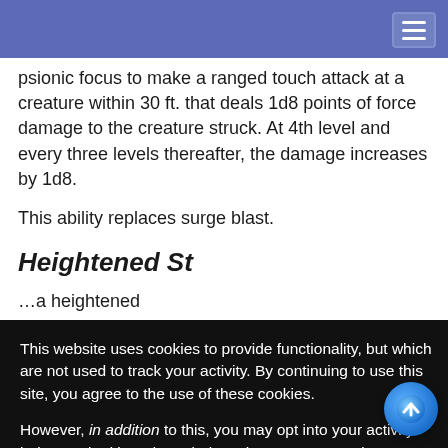psionic focus to make a ranged touch attack at a creature within 30 ft. that deals 1d8 points of force damage to the creature struck. At 4th level and every three levels thereafter, the damage increases by 1d8.
This ability replaces surge blast.
Heightened State (Su)
...a heightened ...t. After ...verchannel ...er of ...s level and a +1 ...ound. If he ...e Overchannel ...e duration is ...bonus
This website uses cookies to provide functionality, but which are not used to track your activity. By continuing to use this site, you agree to the use of these cookies.

However, in addition to this, you may opt into your activity being tracked in order to help us improve our service.

For more information, please click here